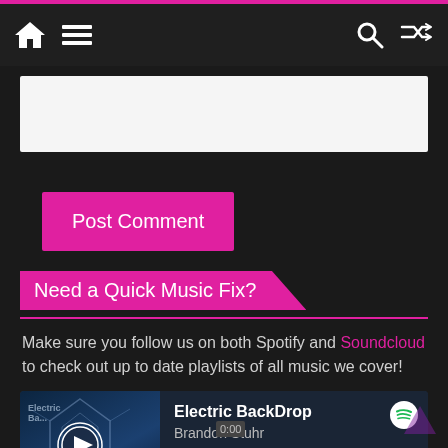Navigation bar with home, menu, search, and shuffle icons
[Figure (screenshot): White text input box for comment entry]
Post Comment
Need a Quick Music Fix?
Make sure you follow us on both Spotify and Soundcloud to check out up to date playlists of all music we cover!
[Figure (screenshot): Spotify embedded music player showing 'Electric BackDrop' by Brandon Stuhr with playback controls, progress bar, and Spotify logo]